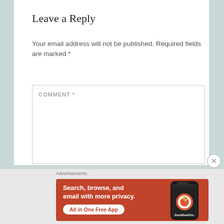Leave a Reply
Your email address will not be published. Required fields are marked *
COMMENT *
Advertisements
[Figure (screenshot): DuckDuckGo advertisement banner on orange/red background. Text reads: 'Search, browse, and email with more privacy. All in One Free App' with DuckDuckGo logo and phone image on right.]